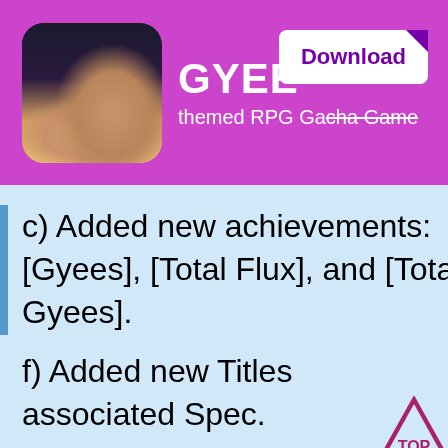[Figure (screenshot): App store banner showing GYEE game with character illustration, game name, subtitle 'themed RPG Gacha Game', and a Download button]
c) Added new achievements: [Gyees], [Total Flux], and [Total Gyees].
f) Added new Titles associated Spec.
g) Fixed the problem that some